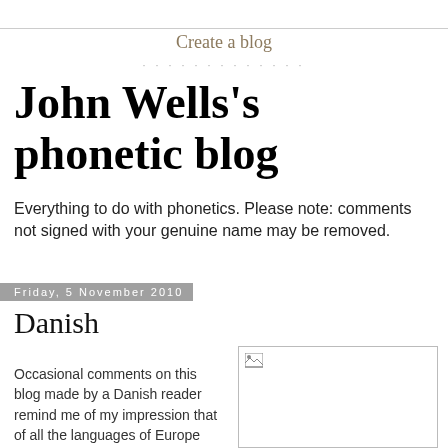Create a blog
John Wells's phonetic blog
Everything to do with phonetics. Please note: comments not signed with your genuine name may be removed.
Friday, 5 November 2010
Danish
Occasional comments on this blog made by a Danish reader remind me of my impression that of all the languages of Europe the one with the most difficult phonetics
[Figure (photo): Broken image placeholder in a bordered box]